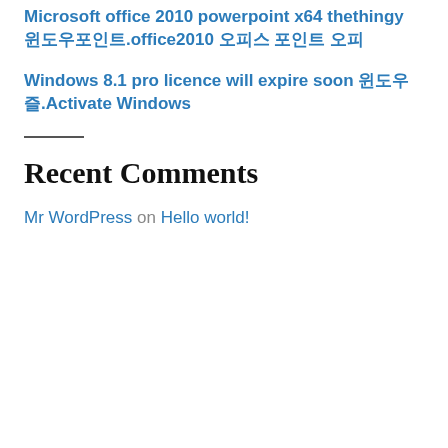Microsoft office 2010 powerpoint x64 thethingy 윈도우포인트.office2010 오피스 포인트 오피
Windows 8.1 pro licence will expire soon 윈도우즈.Activate Windows
Recent Comments
Mr WordPress on Hello world!